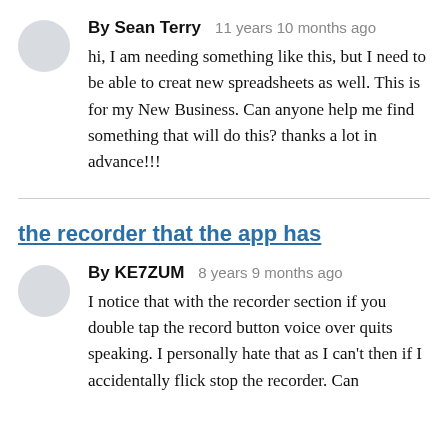By Sean Terry   11 years 10 months ago
hi, I am needing something like this, but I need to be able to creat new spreadsheets as well. This is for my New Business. Can anyone help me find something that will do this? thanks a lot in advance!!!
the recorder that the app has
By KE7ZUM   8 years 9 months ago
I notice that with the recorder section if you double tap the record button voice over quits speaking. I personally hate that as I can't then if I accidentally flick stop the recorder. Can anyone shed some lite on this?